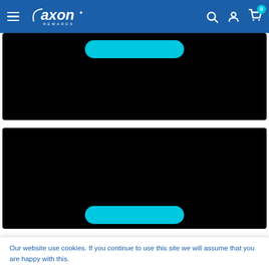Axon Rewards — navigation bar with logo, search, account, and cart icons
[Figure (screenshot): Black video/image block with a teal pill-shaped button at the top center]
[Figure (screenshot): Black video/image block with a teal pill-shaped button at the bottom center]
Our website use cookies. If you continue to use this site we will assume that you are happy with this.
ACCEPT